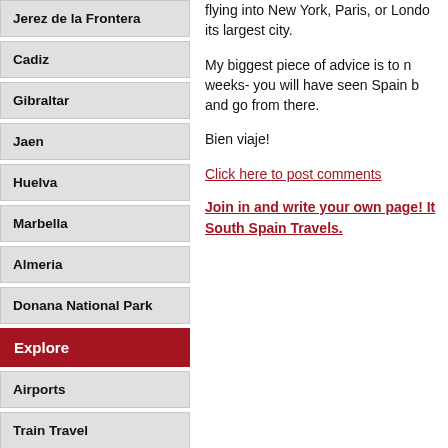Jerez de la Frontera
Cadiz
Gibraltar
Jaen
Huelva
Marbella
Almeria
Donana National Park
Explore
Airports
Train Travel
flying into New York, Paris, or London its largest city.
My biggest piece of advice is to not rush- a few weeks- you will have seen Spain by then and go from there.
Bien viaje!
Click here to post comments
Join in and write your own page! It South Spain Travels.